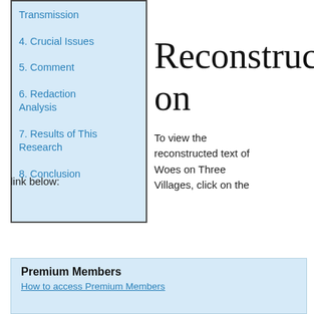Transmission
4. Crucial Issues
5. Comment
6. Redaction Analysis
7. Results of This Research
8. Conclusion
Reconstruction
To view the reconstructed text of Woes on Three Villages, click on the link below:
Premium Members